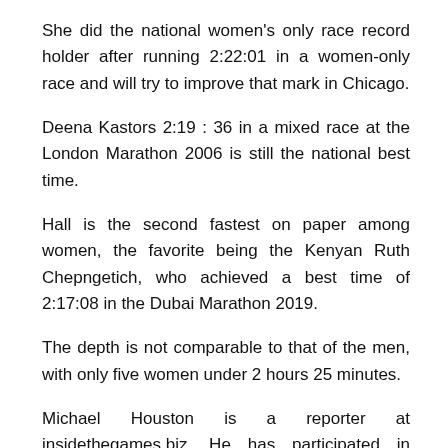She did the national women's only race record holder after running 2:22:01 in a women-only race and will try to improve that mark in Chicago.
Deena Kastors 2:19 : 36 in a mixed race at the London Marathon 2006 is still the national best time.
Hall is the second fastest on paper among women, the favorite being the Kenyan Ruth Chepngetich, who achieved a best time of 2:17:08 in the Dubai Marathon 2019.
The depth is not comparable to that of the men, with only five women under 2 hours 25 minutes.
Michael Houston is a reporter at insidethegames.biz. He has participated in several major events including cycling at the Glasgow Commonwealth Games 2014. He also has